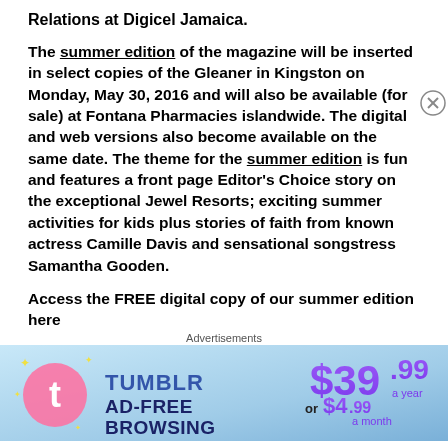Relations at Digicel Jamaica.
The summer edition of the magazine will be inserted in select copies of the Gleaner in Kingston on Monday, May 30, 2016 and will also be available (for sale) at Fontana Pharmacies islandwide. The digital and web versions also become available on the same date. The theme for the summer edition is fun and features a front page Editor's Choice story on the exceptional Jewel Resorts; exciting summer activities for kids plus stories of faith from known actress Camille Davis and sensational songstress Samantha Gooden.
Access the FREE digital copy of our summer edition here
=> Summer Fun!
[Figure (infographic): Tumblr Ad-Free Browsing advertisement banner showing $39.99 a year or $4.99 a month pricing with Tumblr logo]